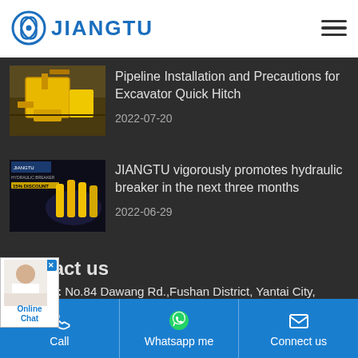JIANGTU
[Figure (photo): Yellow excavator quick hitch attachment being installed on construction site]
Pipeline Installation and Precautions for Excavator Quick Hitch
2022-07-20
[Figure (photo): JIANGTU promotional banner showing hydraulic breakers with discount text]
JIANGTU vigorously promotes hydraulic breaker in the next three months
2022-06-29
Contact us
Address:  No.84 Dawang Rd.,Fushan District, Yantai City, Shandong Province, China
Tel:  +86-535-6802678
Call | Whatsapp me | Connect us